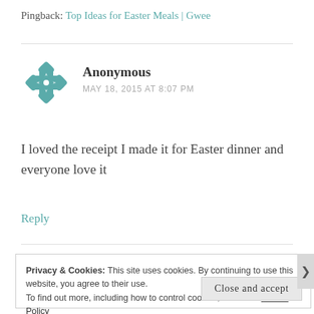Pingback: Top Ideas for Easter Meals | Gwee
[Figure (illustration): Teal geometric/quilted avatar icon for Anonymous commenter]
Anonymous
MAY 18, 2015 AT 8:07 PM
I loved the receipt I made it for Easter dinner and everyone love it
Reply
Privacy & Cookies: This site uses cookies. By continuing to use this website, you agree to their use.
To find out more, including how to control cookies, see here: Cookie Policy
Close and accept